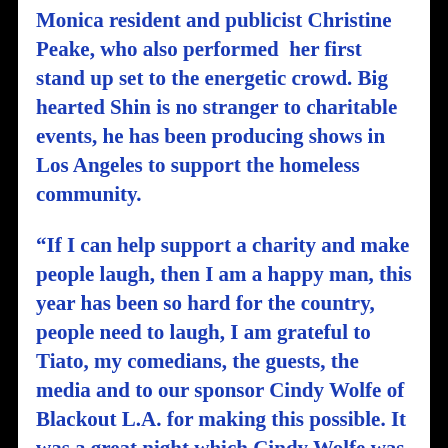Monica resident and publicist Christine Peake, who also performed her first stand up set to the energetic crowd. Big hearted Shin is no stranger to charitable events, he has been producing shows in Los Angeles to support the homeless community.
“If I can help support a charity and make people laugh, then I am a happy man, this year has been so hard for the country, people need to laugh, I am grateful to Tiato, my comedians, the guests, the media and to our sponsor Cindy Wolfe of Blackout L.A. for making this possible. It was a great night which Cindy Wolfe was an integral part of, her generosity gave us the extra push to